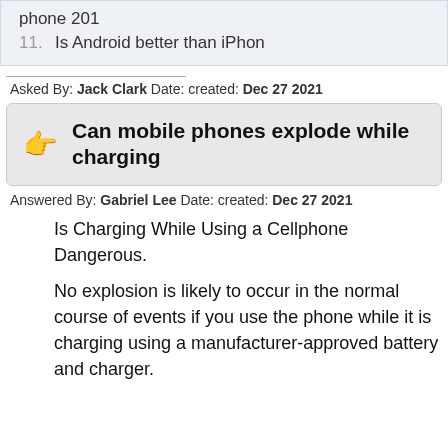phone 201
11. Is Android better than iPhon
Asked By: Jack Clark Date: created: Dec 27 2021
Can mobile phones explode while charging
Answered By: Gabriel Lee Date: created: Dec 27 2021
Is Charging While Using a Cellphone Dangerous.
No explosion is likely to occur in the normal course of events if you use the phone while it is charging using a manufacturer-approved battery and charger.